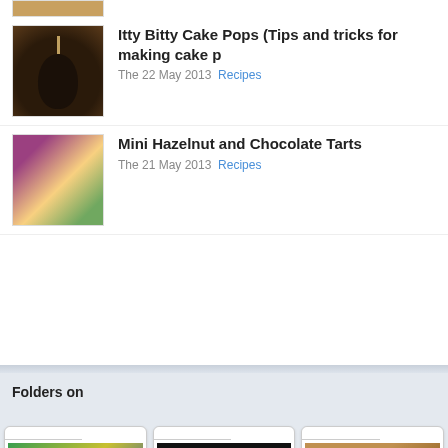[Figure (photo): Partial thumbnail of cake pops at top of page]
Itty Bitty Cake Pops (Tips and tricks for making cake p...)
The 22 May 2013  Recipes
Mini Hazelnut and Chocolate Tarts
The 21 May 2013  Recipes
Folders on
[Figure (photo): 2014 FIFA World Cup Brazil folder thumbnail]
WORLD CUP 2014
[Figure (photo): Father's Day folder thumbnail - person in blue shirt]
FATHER'S DAY
[Figure (photo): Easter folder thumbnail - golden rabbit]
EASTER